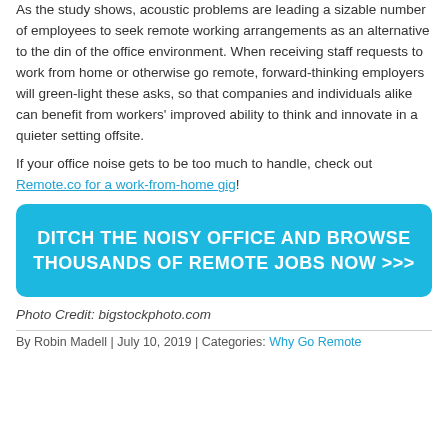As the study shows, acoustic problems are leading a sizable number of employees to seek remote working arrangements as an alternative to the din of the office environment. When receiving staff requests to work from home or otherwise go remote, forward-thinking employers will green-light these asks, so that companies and individuals alike can benefit from workers' improved ability to think and innovate in a quieter setting offsite.
If your office noise gets to be too much to handle, check out Remote.co for a work-from-home gig!
[Figure (other): Cyan/blue call-to-action button reading: DITCH THE NOISY OFFICE AND BROWSE THOUSANDS OF REMOTE JOBS NOW >>>]
Photo Credit: bigstockphoto.com
By Robin Madell | July 10, 2019 | Categories: Why Go Remote